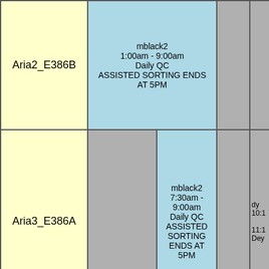| Aria2_E386B |  | mblack2
1:00am - 9:00am
Daily QC
ASSISTED SORTING ENDS AT 5PM |  |  |
| Aria3_E386A |  | mblack2
7:30am - 9:00am
Daily QC
ASSISTED SORTING ENDS AT 5PM |  | dy
10:1
11:1
Dey |
| Aurora |  | mblack2
7:00am - 9:00am
Daily QC |  | am
11:0
12:
A |
| Canto2 |  | mblack2
7:00am - 9:00am
Daily QC |  |  |
|  |  |  |  |  |